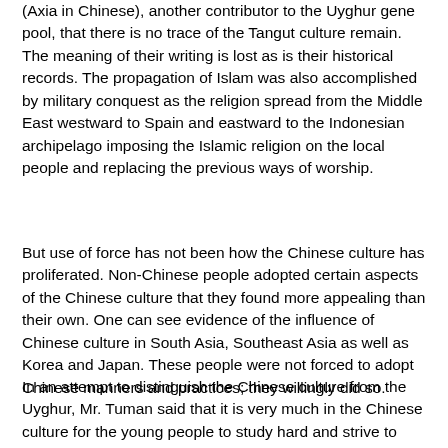(Axia in Chinese), another contributor to the Uyghur gene pool, that there is no trace of the Tangut culture remain. The meaning of their writing is lost as is their historical records. The propagation of Islam was also accomplished by military conquest as the religion spread from the Middle East westward to Spain and eastward to the Indonesian archipelago imposing the Islamic religion on the local people and replacing the previous ways of worship.
But use of force has not been how the Chinese culture has proliferated. Non-Chinese people adopted certain aspects of the Chinese culture that they found more appealing than their own. One can see evidence of the influence of Chinese culture in South Asia, Southeast Asia as well as Korea and Japan. These people were not forced to adopt Chinese manners and practices; they willingly did so.
In an attempt to distinguish the Chinese culture from the Uyghur, Mr. Tuman said that it is very much in the Chinese culture for the young people to study hard and strive to attend the best school and best university and to work hard and make a lot of money. This is not part of the Uyghur culture, he said, as the Uyghurs like to take life as it comes